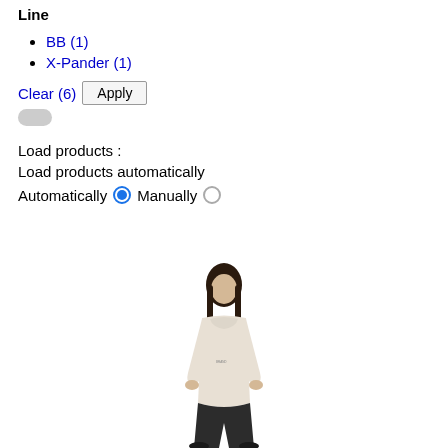Line
BB (1)
X-Pander (1)
Clear (6)  Apply
Load products :
Load products automatically
Automatically  (selected) Manually  (unselected)
[Figure (photo): Model wearing a cream/off-white hoodie and dark wide-leg trousers, standing against a white background]